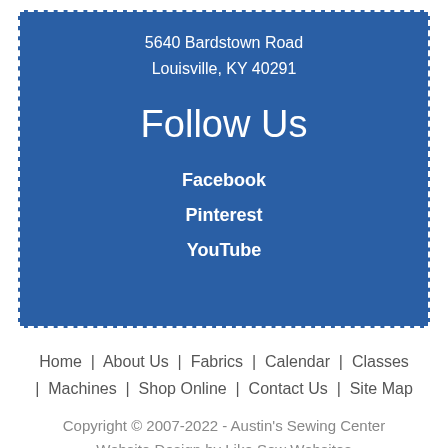5640 Bardstown Road
Louisville, KY 40291
Follow Us
Facebook
Pinterest
YouTube
Home  |  About Us  |  Fabrics  |  Calendar  |  Classes  |  Machines  |  Shop Online  |  Contact Us  |  Site Map
Copyright © 2007-2022 - Austin's Sewing Center
Website Design by Like Sew Websites